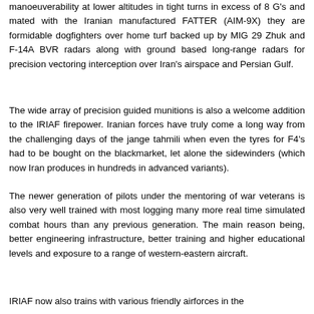manoeuverability at lower altitudes in tight turns in excess of 8 G's and mated with the Iranian manufactured FATTER (AIM-9X) they are formidable dogfighters over home turf backed up by MIG 29 Zhuk and F-14A BVR radars along with ground based long-range radars for precision vectoring interception over Iran's airspace and Persian Gulf.
The wide array of precision guided munitions is also a welcome addition to the IRIAF firepower. Iranian forces have truly come a long way from the challenging days of the jange tahmili when even the tyres for F4's had to be bought on the blackmarket, let alone the sidewinders (which now Iran produces in hundreds in advanced variants).
The newer generation of pilots under the mentoring of war veterans is also very well trained with most logging many more real time simulated combat hours than any previous generation. The main reason being, better engineering infrastructure, better training and higher educational levels and exposure to a range of western-eastern aircraft.
IRIAF now also trains with various friendly airforces in the